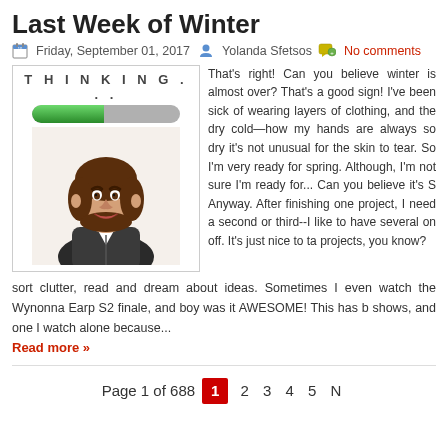Last Week of Winter
Friday, September 01, 2017  Yolanda Sfetsos  No comments
[Figure (illustration): Animated avatar of a woman with brown hair wearing a dark jacket, above a progress bar labeled THINKING...]
That's right! Can you believe winter is almost over? That's a good sign! I've been sick of wearing layers of clothing, and the dry cold—how my hands are always so dry it's not unusual for the skin to tear. So I'm very ready for spring. Although, I'm not sure I'm ready for... Can you believe it's September already? Anyway. After finishing one project, I need a second or third--I like to have several things on off. It's just nice to take a break between projects, you know?
sort clutter, read and dream about ideas. Sometimes I even watch the Wynonna Earp S2 finale, and boy was it AWESOME! This has b shows, and one I watch alone because...
Read more »
Page 1 of 688  1  2  3  4  5  N